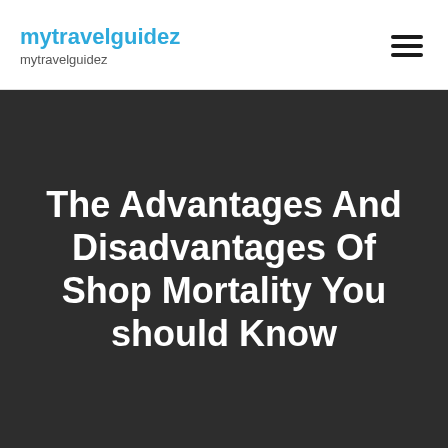mytravelguidez
mytravelguidez
The Advantages And Disadvantages Of Shop Mortality You should Know